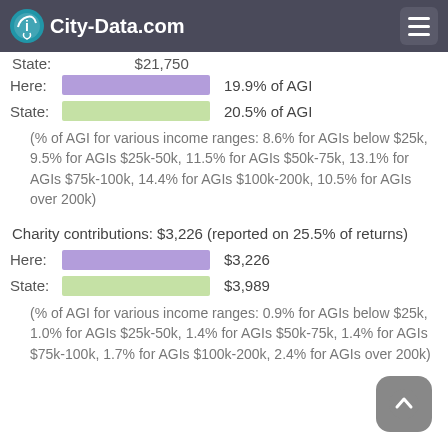City-Data.com
State: $21,750
Here: 19.9% of AGI
State: 20.5% of AGI
(% of AGI for various income ranges: 8.6% for AGIs below $25k, 9.5% for AGIs $25k-50k, 11.5% for AGIs $50k-75k, 13.1% for AGIs $75k-100k, 14.4% for AGIs $100k-200k, 10.5% for AGIs over 200k)
Charity contributions: $3,226 (reported on 25.5% of returns)
Here: $3,226
State: $3,989
(% of AGI for various income ranges: 0.9% for AGIs below $25k, 1.0% for AGIs $25k-50k, 1.4% for AGIs $50k-75k, 1.4% for AGIs $75k-100k, 1.7% for AGIs $100k-200k, 2.4% for AGIs over 200k)